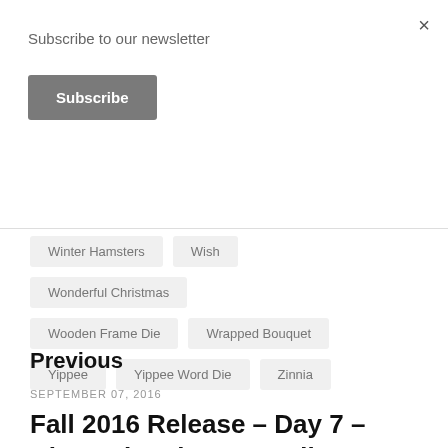Subscribe to our newsletter
Subscribe
Winter Hamsters
Wish
Wonderful Christmas
Wooden Frame Die
Wrapped Bouquet
Yippee
Yippee Word Die
Zinnia
Previous
SEPTEMBER 07, 2016
Fall 2016 Release - Day 7 - Dimensional Frames die